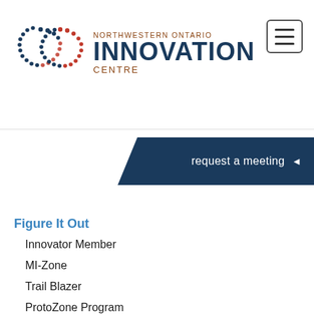[Figure (logo): Northwestern Ontario Innovation Centre logo with two interlocking circles made of dots (blue and brown/red dotted rings) and text 'NORTHWESTERN ONTARIO INNOVATION CENTRE']
request a meeting ◄
Figure It Out
Innovator Member
MI-Zone
Trail Blazer
ProtoZone Program
Costarter
Find Customers